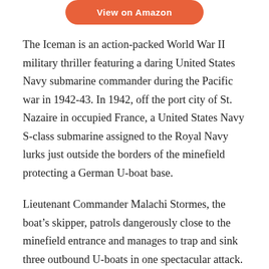[Figure (other): Orange rounded button labeled 'View on Amazon']
The Iceman is an action-packed World War II military thriller featuring a daring United States Navy submarine commander during the Pacific war in 1942-43. In 1942, off the port city of St. Nazaire in occupied France, a United States Navy S-class submarine assigned to the Royal Navy lurks just outside the borders of the minefield protecting a German U-boat base.
Lieutenant Commander Malachi Stormes, the boat’s skipper, patrols dangerously close to the minefield entrance and manages to trap and sink three outbound U-boats in one spectacular attack. Britain decorates him, the U.S. Navy promotes him and then gives him command of a brand new class of submarine, a fleet boat called